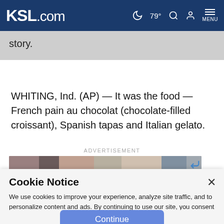KSL.com — 79° MENU
story.
WHITING, Ind. (AP) — It was the food — French pain au chocolat (chocolate-filled croissant), Spanish tapas and Italian gelato.
ADVERTISEMENT
[Figure (photo): Advertisement image strip showing people's faces]
Cookie Notice
We use cookies to improve your experience, analyze site traffic, and to personalize content and ads. By continuing to use our site, you consent to our use of cookies. Please visit our Terms of Use and Privacy Policy for more information.
Continue